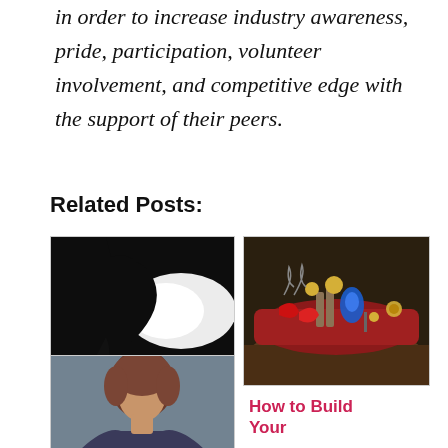in order to increase industry awareness, pride, participation, volunteer involvement, and competitive edge with the support of their peers.
Related Posts:
[Figure (photo): Boudoir silhouette photo of a person's profile against a glowing white light on dark background, with 'Wolf Boudoir Houston, TX' watermark]
Houston Boudoir
[Figure (photo): Photo of jewelry and accessories laid out on red velvet fabric on a wooden surface]
How to Build Your
[Figure (photo): Photo of a person with brown hair against a grey background, partially visible]